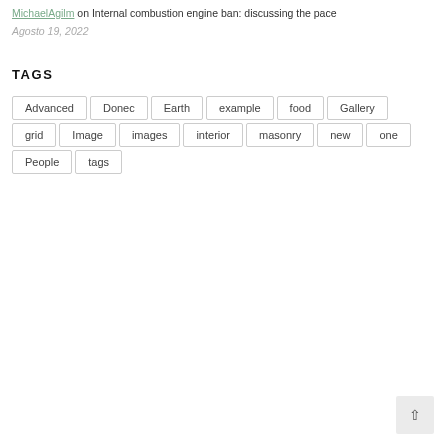MichaelAgilm on Internal combustion engine ban: discussing the pace
Agosto 19, 2022
TAGS
Advanced
Donec
Earth
example
food
Gallery
grid
Image
images
interior
masonry
new
one
People
tags